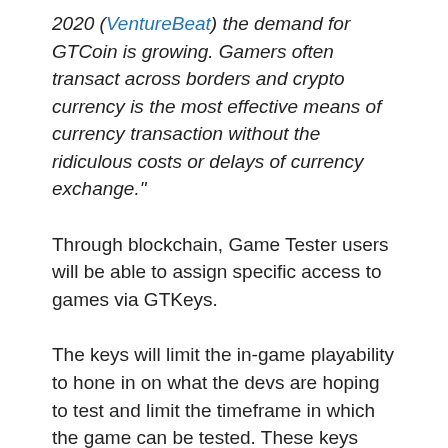2020 (VentureBeat) the demand for GTCoin is growing. Gamers often transact across borders and crypto currency is the most effective means of currency transaction without the ridiculous costs or delays of currency exchange."
Through blockchain, Game Tester users will be able to assign specific access to games via GTKeys.
The keys will limit the in-game playability to hone in on what the devs are hoping to test and limit the timeframe in which the game can be tested. These keys also make it easy for players to buy the games they test as soon as they come out.
As a player, the Game Tester platform will actually